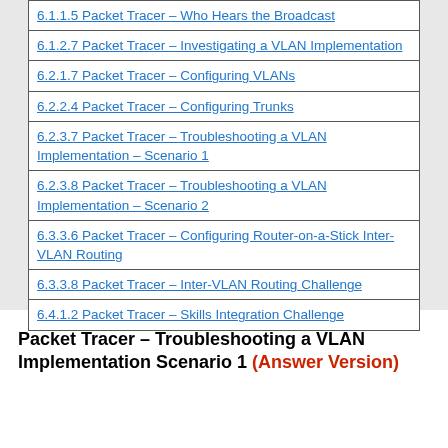| 6.1.1.5 Packet Tracer – Who Hears the Broadcast |
| 6.1.2.7 Packet Tracer – Investigating a VLAN Implementation |
| 6.2.1.7 Packet Tracer – Configuring VLANs |
| 6.2.2.4 Packet Tracer – Configuring Trunks |
| 6.2.3.7 Packet Tracer – Troubleshooting a VLAN Implementation – Scenario 1 |
| 6.2.3.8 Packet Tracer – Troubleshooting a VLAN Implementation – Scenario 2 |
| 6.3.3.6 Packet Tracer – Configuring Router-on-a-Stick Inter-VLAN Routing |
| 6.3.3.8 Packet Tracer – Inter-VLAN Routing Challenge |
| 6.4.1.2 Packet Tracer – Skills Integration Challenge |
Packet Tracer – Troubleshooting a VLAN Implementation Scenario 1 (Answer Version)